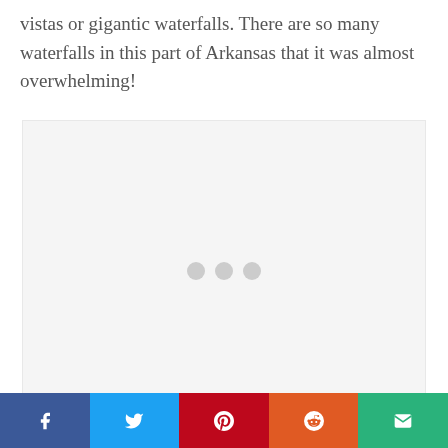vistas or gigantic waterfalls. There are so many waterfalls in this part of Arkansas that it was almost overwhelming!
[Figure (other): Loading image placeholder with three gray dots centered on a light gray background]
Social sharing bar with Facebook, Twitter, Pinterest, Reddit, and Email buttons